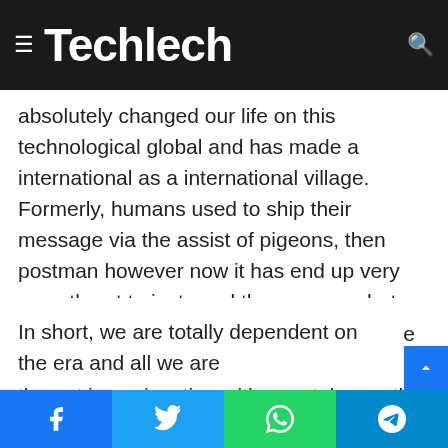Techlech
absolutely changed our life on this technological global and has made a international as a international village. Formerly, humans used to ship their message via the assist of pigeons, then postman however now it has end up very smooth not to just send the message but also can have access to video name to the one you want to ship the message. That is the net in conjunction with smartphones that have made less difficult for each person to connect himself with all his remote household around the sector. For that reason, it's miles the simplest technology which has made our lives easier than before.
In short, we are totally dependent on the era and all we are